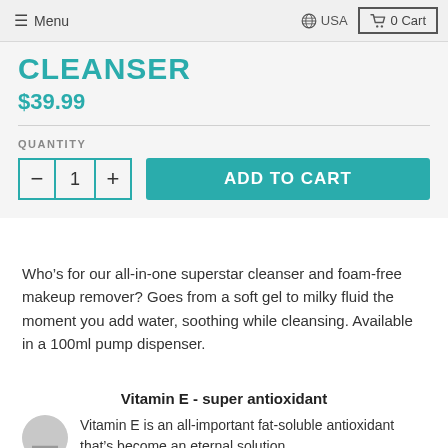Menu | USA | 0 Cart
CLEANSER
$39.99
QUANTITY
- 1 + ADD TO CART
Who’s for our all-in-one superstar cleanser and foam-free makeup remover? Goes from a soft gel to milky fluid the moment you add water, soothing while cleansing. Available in a 100ml pump dispenser.
Vitamin E - super antioxidant
Vitamin E is an all-important fat-soluble antioxidant that’s become an eternal solution.